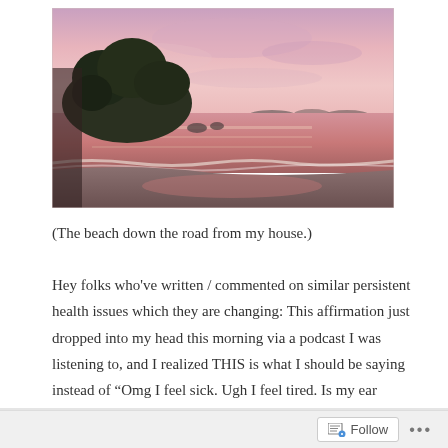[Figure (photo): A pink/purple sunset over a beach with a rocky tree-covered island on the left, calm waves washing on sand, reflecting pink sky colors on the wet sand.]
(The beach down the road from my house.)
Hey folks who've written / commented on similar persistent health issues which they are changing: This affirmation just dropped into my head this morning via a podcast I was listening to, and I realized THIS is what I should be saying instead of “Omg I feel sick. Ugh I feel tired. Is my ear hurting? Omg my sinus hurts.
Follow ...